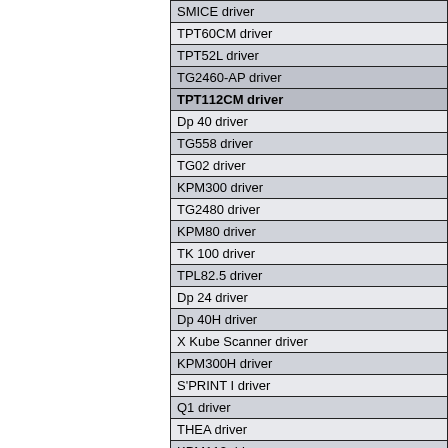| SMICE driver |
| TPT60CM driver |
| TPT52L driver |
| TG2460-AP driver |
| TPT112CM driver |
| Dp 40 driver |
| TG558 driver |
| TG02 driver |
| KPM300 driver |
| TG2480 driver |
| KPM80 driver |
| TK 100 driver |
| TPL82.5 driver |
| Dp 24 driver |
| Dp 40H driver |
| X Kube Scanner driver |
| KPM300H driver |
| S'PRINT I driver |
| Q1 driver |
| THEA driver |
| KPM112 driver |
| LOLA LP2 driver |
| Dp 24H driver |